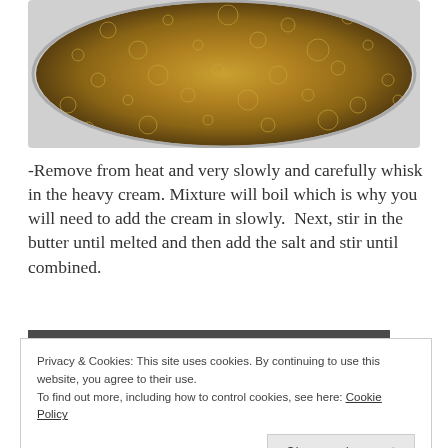[Figure (photo): Overhead view of bubbling caramel mixture in a round saucepan, showing golden-brown boiling liquid with many bubbles on the surface.]
-Remove from heat and very slowly and carefully whisk in the heavy cream. Mixture will boil which is why you will need to add the cream in slowly.  Next, stir in the butter until melted and then add the salt and stir until combined.
[Figure (photo): Close-up of caramel sauce in a baking pan or similar container, showing golden-brown caramel with a dark top edge/border.]
Privacy & Cookies: This site uses cookies. By continuing to use this website, you agree to their use.
To find out more, including how to control cookies, see here: Cookie Policy
Close and accept